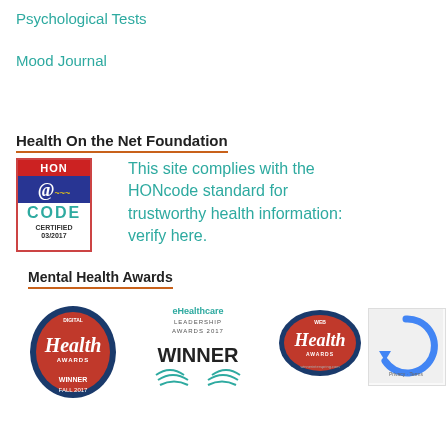Psychological Tests
Mood Journal
Health On the Net Foundation
[Figure (logo): HON Code Certified 03/2017 badge with red top, blue middle with @ symbol, teal CODE text]
This site complies with the HONcode standard for trustworthy health information: verify here.
Mental Health Awards
[Figure (logo): Digital Health Awards Winner Fall 2017 badge]
[Figure (logo): eHealthcare Leadership Awards 2017 Winner badge]
[Figure (logo): Web Health Awards winner badge with winnerinterspring.com]
[Figure (logo): reCAPTCHA logo]